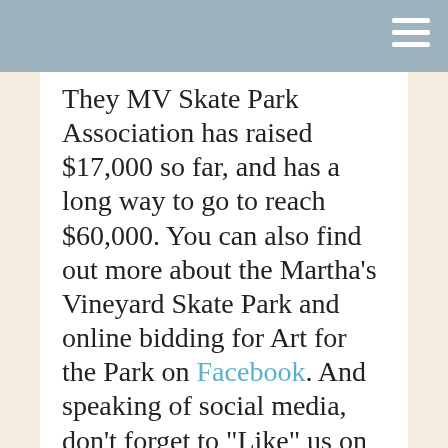They MV Skate Park Association has raised $17,000 so far, and has a long way to go to reach $60,000. You can also find out more about the Martha's Vineyard Skate Park and online bidding for Art for the Park on Facebook. And speaking of social media, don't forget to "Like" us on Facebook, on follow us on Twitter, Linked In, Pinterest and YouTube. Also, a special thanks to Erik Albert for the photos of